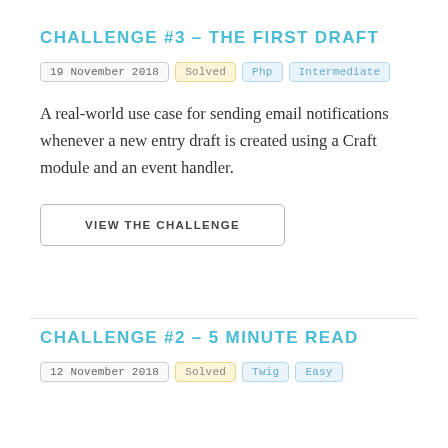CHALLENGE #3 – THE FIRST DRAFT
19 November 2018  Solved  Php  Intermediate
A real-world use case for sending email notifications whenever a new entry draft is created using a Craft module and an event handler.
VIEW THE CHALLENGE
CHALLENGE #2 – 5 MINUTE READ
12 November 2018  Solved  Twig  Easy